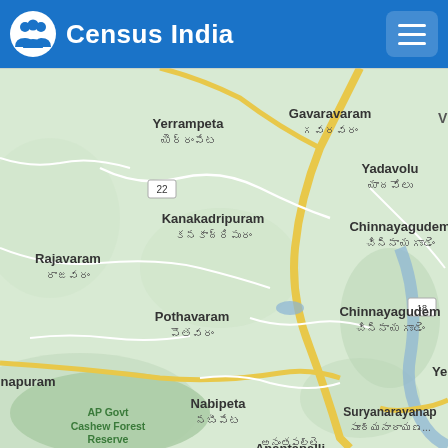Census India
[Figure (map): Google Maps view of the Rajavaram/Pothavaram/Kanakadripuram area in Andhra Pradesh, India, showing place names in English and Telugu script. Locations shown include Yerrampeta, Gavaravaram, Yadavolu, Rajavaram, Kanakadripuram, Chinnayagudem (2x), Pothavaram, napuram, Nabipeta, AP Govt Cashew Forest Reserve, Suryanarayanap, Anantapalli. Roads shown as yellow lines. Background is light green terrain map.]